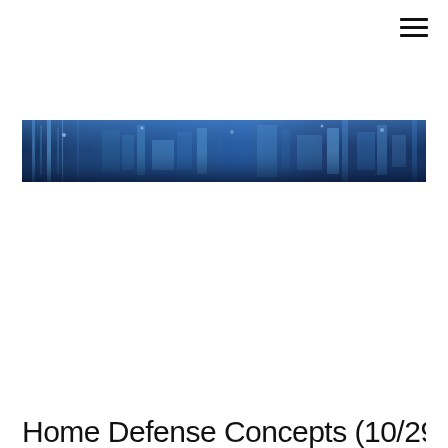[Figure (illustration): Hamburger menu icon (three horizontal lines) in top right corner]
[Figure (photo): Dark blue horizontal banner image showing a blurred cityscape or building facade with blue tones, vertical streaks of light]
Home Defense Concepts (10/29)